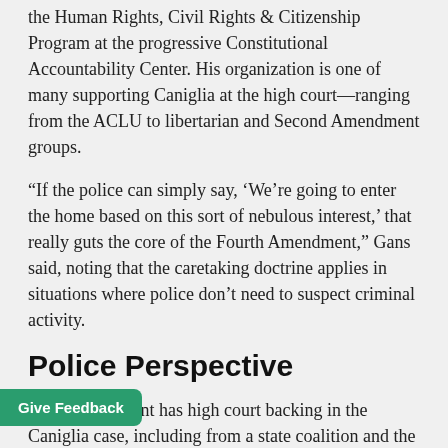the Human Rights, Civil Rights & Citizenship Program at the progressive Constitutional Accountability Center. His organization is one of many supporting Caniglia at the high court—ranging from the ACLU to libertarian and Second Amendment groups.
“If the police can simply say, ‘We’re going to enter the home based on this sort of nebulous interest,’ that really guts the core of the Fourth Amendment,” Gans said, noting that the caretaking doctrine applies in situations where police don’t need to suspect criminal activity.
Police Perspective
Law enforcement has high court backing in the Caniglia case, including from a state coalition and the federal government.
nd Local Legal Center’s Lisa Soronen worked e government-side amicus briefs, filed by